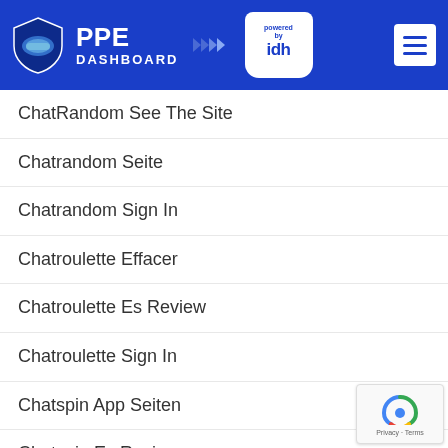PPE DASHBOARD powered by idh
ChatRandom See The Site
Chatrandom Seite
Chatrandom Sign In
Chatroulette Effacer
Chatroulette Es Review
Chatroulette Sign In
Chatspin App Seiten
Chatspin Es Review
Chatspin Review